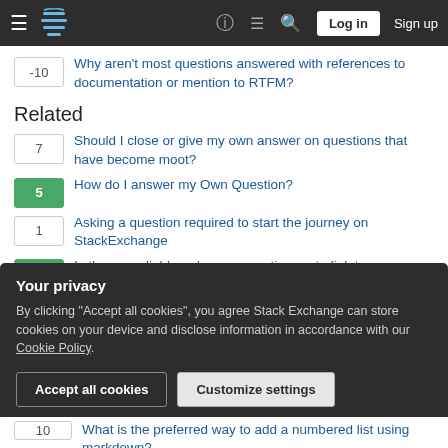Stack Exchange navigation bar with hamburger menu, logo, help, chat, search, Log in, Sign up
-10  Why aren't most questions answered with references to documentation or mention to RTFM?
Related
7  Should I close or give my own answer on questions that have become moot?
5  How do I answer my Own Question?
1  Asking a question required to start the journey on StackExchange
14  Is there a reliable, release-agnostic way to link to manpages?
Your privacy

By clicking "Accept all cookies", you agree Stack Exchange can store cookies on your device and disclose information in accordance with our Cookie Policy.

[Accept all cookies]  [Customize settings]
10  What is the preferred way to add a numbered list using markdown?